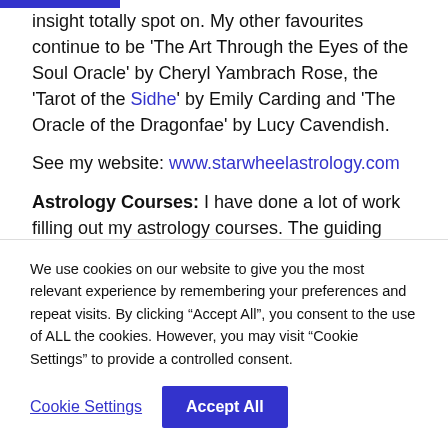insight totally spot on. My other favourites continue to be 'The Art Through the Eyes of the Soul Oracle' by Cheryl Yambrach Rose, the 'Tarot of the Sidhe' by Emily Carding and 'The Oracle of the Dragonfae' by Lucy Cavendish.
See my website: www.starwheelastrology.com
Astrology Courses: I have done a lot of work filling out my astrology courses. The guiding theme is that like the Oxford Tutorial system
We use cookies on our website to give you the most relevant experience by remembering your preferences and repeat visits. By clicking "Accept All", you consent to the use of ALL the cookies. However, you may visit "Cookie Settings" to provide a controlled consent.
Cookie Settings | Accept All